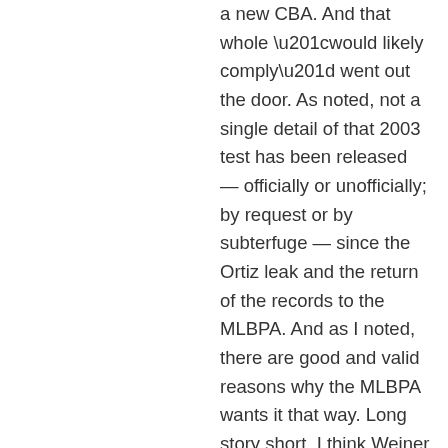a new CBA. And that whole “would likely comply” went out the door. As noted, not a single detail of that 2003 test has been released — officially or unofficially; by request or by subterfuge — since the Ortiz leak and the return of the records to the MLBPA. And as I noted, there are good and valid reasons why the MLBPA wants it that way. Long story short, I think Weiner